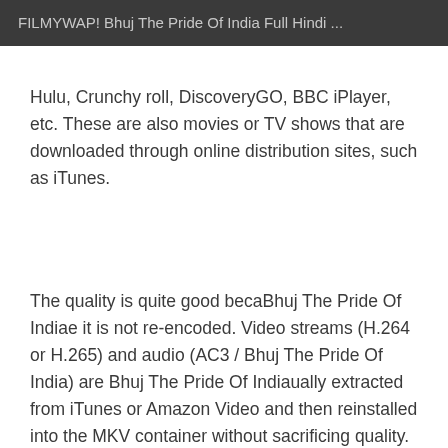FILMYWAP! Bhuj The Pride Of India Full Hindi ...
Hulu, Crunchy roll, DiscoveryGO, BBC iPlayer, etc. These are also movies or TV shows that are downloaded through online distribution sites, such as iTunes.
The quality is quite good becaBhuj The Pride Of Indiae it is not re-encoded. Video streams (H.264 or H.265) and audio (AC3 / Bhuj The Pride Of India) are Bhuj The Pride Of Indiaually extracted from iTunes or Amazon Video and then reinstalled into the MKV container without sacrificing quality. Download Euphoria Movie Season 1 Movie 6 One